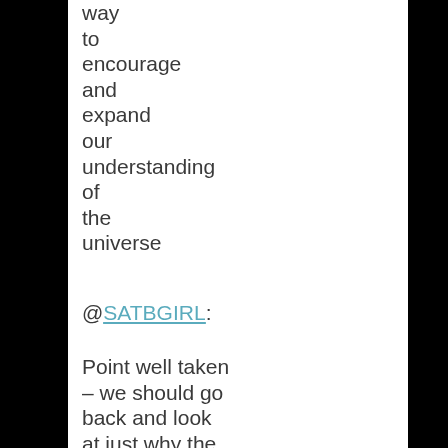way to encourage and expand our understanding of the universe
@SATBGIRL:
Point well taken – we should go back and look at just why the SDA church decided to divert tithe, gifts, offering money to